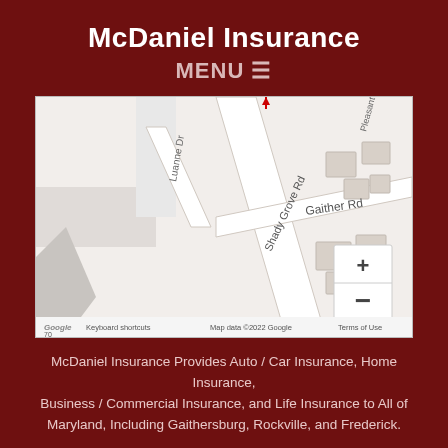McDaniel Insurance
MENU ≡
[Figure (map): Google Maps screenshot showing intersection of Shady Grove Rd, Gaither Rd, and Luanne Dr near Gaithersburg, Maryland. Includes zoom controls (+/-) and footer text: Keyboard shortcuts | Map data ©2022 Google | Terms of Use]
McDaniel Insurance Provides Auto / Car Insurance, Home Insurance, Business / Commercial Insurance, and Life Insurance to All of Maryland, Including Gaithersburg, Rockville, and Frederick.